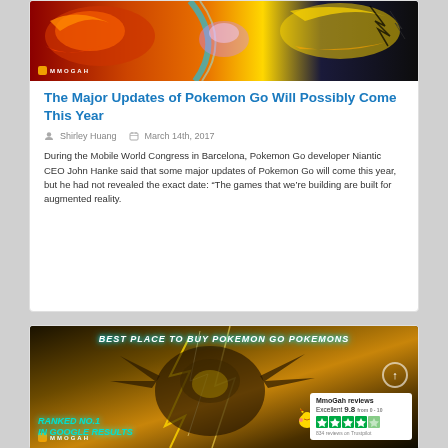[Figure (illustration): Pokemon Go banner image showing colorful legendary Pokemon (Moltres, Articuno, Zapdos) with MMOGAH logo]
The Major Updates of Pokemon Go Will Possibly Come This Year
Shirley Huang   March 14th, 2017
During the Mobile World Congress in Barcelona, Pokemon Go developer Niantic CEO John Hanke said that some major updates of Pokemon Go will come this year, but he had not revealed the exact date: “The games that we’re building are built for augmented reality.
[Figure (illustration): MMOGAH advertisement banner: Best Place to Buy Pokemon Go Pokemons - Ranked No.1 in Google Results, with Zapdos lightning Pokemon, MmoGah Trustpilot review box showing Excellent 9.8, 834 reviews]